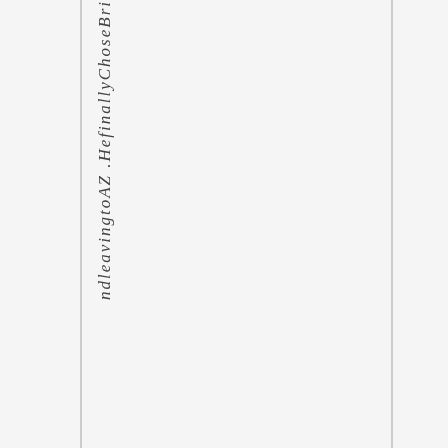ndleavingtoAZ .HefinallyChoseBri